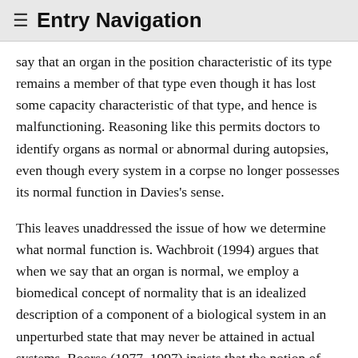≡ Entry Navigation
say that an organ in the position characteristic of its type remains a member of that type even though it has lost some capacity characteristic of that type, and hence is malfunctioning. Reasoning like this permits doctors to identify organs as normal or abnormal during autopsies, even though every system in a corpse no longer possesses its normal function in Davies's sense.
This leaves unaddressed the issue of how we determine what normal function is. Wachbroit (1994) argues that when we say that an organ is normal, we employ a biomedical concept of normality that is an idealized description of a component of a biological system in an unperturbed state that may never be attained in actual systems. Boorse (1977, 1997) insists that the notion of normality in biomedical concepts is statistical — how things usually are in a reference class, but this view faces the problem of specifying the reference classes in an informative way. But given the amount of variation within a species, it will always be hard to find reference classes